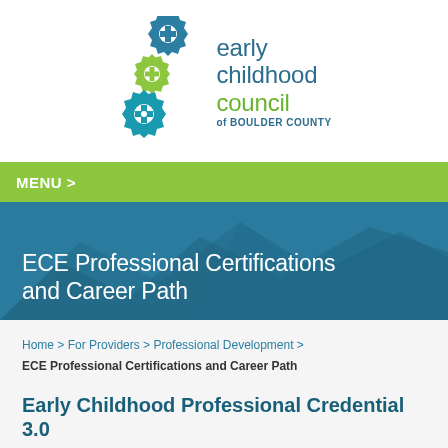[Figure (logo): Early Childhood Council of Boulder County logo with three interlocking gear icons in blue, green, and teal, alongside text 'early childhood council of BOULDER COUNTY']
MENU >
ECE Professional Certifications and Career Path
Home > For Providers > Professional Development > ECE Professional Certifications and Career Path
Early Childhood Professional Credential 3.0
The Early Childhood Professional Credential is...